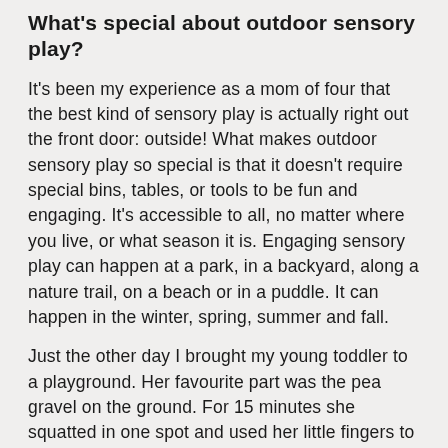What's special about outdoor sensory play?
It's been my experience as a mom of four that the best kind of sensory play is actually right out the front door: outside! What makes outdoor sensory play so special is that it doesn't require special bins, tables, or tools to be fun and engaging. It's accessible to all, no matter where you live, or what season it is. Engaging sensory play can happen at a park, in a backyard, along a nature trail, on a beach or in a puddle. It can happen in the winter, spring, summer and fall.
Just the other day I brought my young toddler to a playground. Her favourite part was the pea gravel on the ground. For 15 minutes she squatted in one spot and used her little fingers to dig, scoop, and drop handfuls of pea rocks. In that moment, so much was happening! She was using fine motor skills to pick up rocks, gross motor skills to balance, and